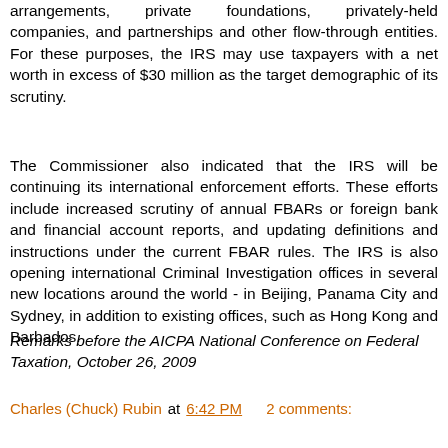arrangements, private foundations, privately-held companies, and partnerships and other flow-through entities. For these purposes, the IRS may use taxpayers with a net worth in excess of $30 million as the target demographic of its scrutiny.
The Commissioner also indicated that the IRS will be continuing its international enforcement efforts. These efforts include increased scrutiny of annual FBARs or foreign bank and financial account reports, and updating definitions and instructions under the current FBAR rules. The IRS is also opening international Criminal Investigation offices in several new locations around the world - in Beijing, Panama City and Sydney, in addition to existing offices, such as Hong Kong and Barbados.
Remarks before the AICPA National Conference on Federal Taxation, October 26, 2009
Charles (Chuck) Rubin at 6:42 PM    2 comments:
Share